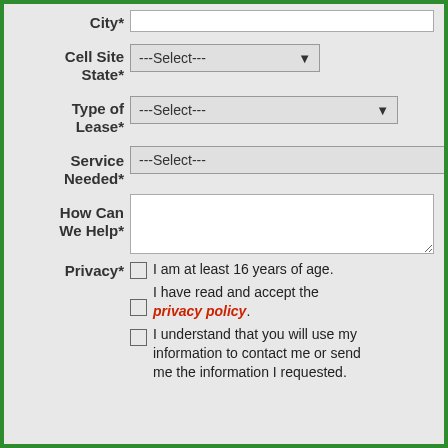City*
Cell Site State*
---Select---
Type of Lease*
---Select---
Service Needed*
---Select---
How Can We Help*
Privacy*
I am at least 16 years of age.
I have read and accept the privacy policy.
I understand that you will use my information to contact me or send me the information I requested.